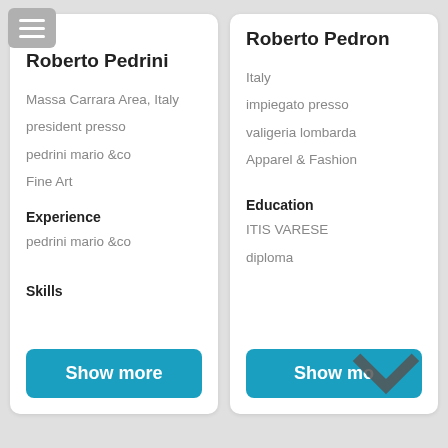Roberto Pedrini
Massa Carrara Area, Italy
president presso
pedrini mario &co
Fine Art
Experience
pedrini mario &co
Skills
Roberto Pedron
Italy
impiegato presso
valigeria lombarda
Apparel & Fashion
Education
ITIS VARESE
diploma